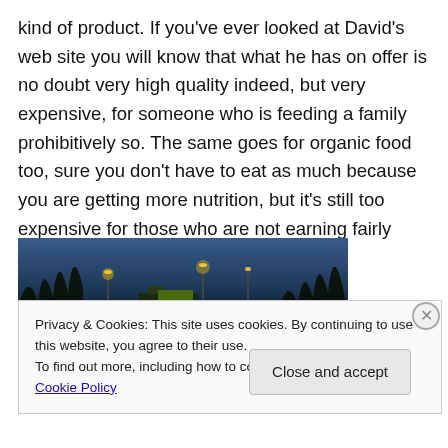kind of product. If you've ever looked at David's web site you will know that what he has on offer is no doubt very high quality indeed, but very expensive, for someone who is feeding a family prohibitively so. The same goes for organic food too, sure you don't have to eat as much because you are getting more nutrition, but it's still too expensive for those who are not earning fairly high incomes.
[Figure (photo): Nighttime/dusk photo of a street scene with lit street lamps, bare trees, and commercial buildings in the background under a blue-purple sky.]
Privacy & Cookies: This site uses cookies. By continuing to use this website, you agree to their use.
To find out more, including how to control cookies, see here: Cookie Policy
Close and accept